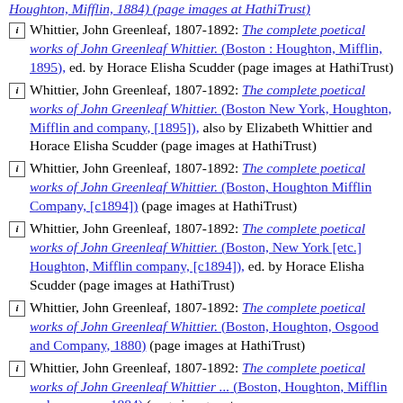Whittier, John Greenleaf, 1807-1892: The complete poetical works of John Greenleaf Whittier. (Boston : Houghton, Mifflin, 1895), ed. by Horace Elisha Scudder (page images at HathiTrust)
Whittier, John Greenleaf, 1807-1892: The complete poetical works of John Greenleaf Whittier. (Boston New York, Houghton, Mifflin and company, [1895]), also by Elizabeth Whittier and Horace Elisha Scudder (page images at HathiTrust)
Whittier, John Greenleaf, 1807-1892: The complete poetical works of John Greenleaf Whittier. (Boston, Houghton Mifflin Company, [c1894]) (page images at HathiTrust)
Whittier, John Greenleaf, 1807-1892: The complete poetical works of John Greenleaf Whittier. (Boston, New York [etc.] Houghton, Mifflin company, [c1894]), ed. by Horace Elisha Scudder (page images at HathiTrust)
Whittier, John Greenleaf, 1807-1892: The complete poetical works of John Greenleaf Whittier. (Boston, Houghton, Osgood and Company, 1880) (page images at HathiTrust)
Whittier, John Greenleaf, 1807-1892: The complete poetical works of John Greenleaf Whittier ... (Boston, Houghton, Mifflin and company, 1884) (page images at